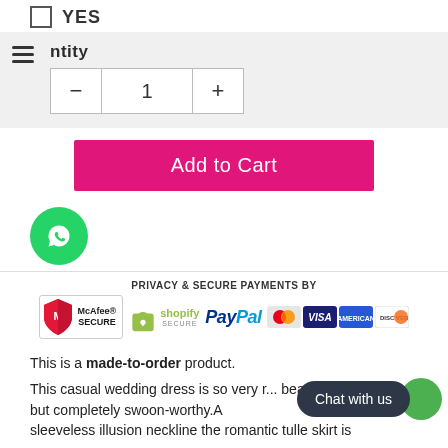YES
ntity
1
[Figure (illustration): Add to Cart button in pink/magenta color]
[Figure (logo): WhatsApp green circle icon]
[Figure (infographic): Privacy & Secure Payments by — showing McAfee SECURE, Shopify Secure, PayPal, Mastercard, Visa, American Express, Discover logos]
This is a made-to-order product.
This casual wedding dress is so very r... beachy, a little boho but completely swoon-worthy.A sleeveless illusion neckline the romantic tulle skirt is